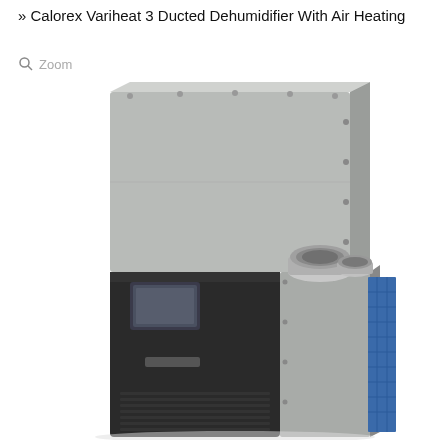» Calorex Variheat 3 Ducted Dehumidifier With Air Heating
🔍 Zoom
[Figure (photo): Calorex Variheat 3 ducted dehumidifier unit with air heating. The unit consists of a large rectangular grey metal cabinet on top, with ducting connectors visible on the right side (silver circular duct fittings). The lower portion shows a black control unit with a touchscreen display, and on the right side a grey cabinet with a blue filter panel visible.]